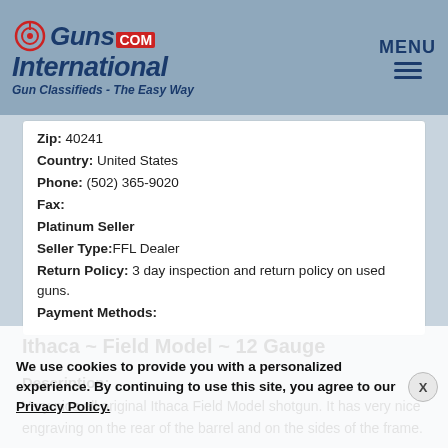GunsInternational.com — Gun Classifieds - The Easy Way | MENU
Zip: 40241
Country: United States
Phone: (502) 365-9020
Fax:
Platinum Seller
Seller Type: FFL Dealer
Return Policy: 3 day inspection and return policy on used guns.
Payment Methods:
Ithaca ~ Field Model ~ 12 Gauge
Description:
Very nice all original Ithaca Field Model shotgun. It has very nice engraving on the rear of the barrel and on the sides of the frame. The metal of the gun is in good condition with no scratches. the wood looks great with minor usage marks. and the bore looks as good as new. All in all this is a great shotgun for a collector or for some one looking for a field gun. 12 Gauge.
We use cookies to provide you with a personalized experience. By continuing to use this site, you agree to our Privacy Policy.